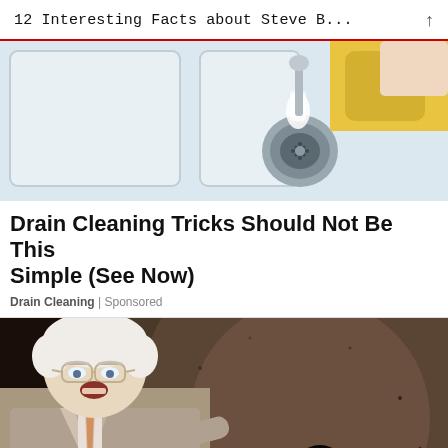12 Interesting Facts about Steve B...
[Figure (photo): Photo of a white kitchen sink with a gloved hand pouring white powder/substance into the drain.]
Drain Cleaning Tricks Should Not Be This Simple (See Now)
Drain Cleaning | Sponsored
[Figure (photo): Photo of an elderly man in a grey suit with glasses pointing at a large drain or dark hole, with a surprised expression.]